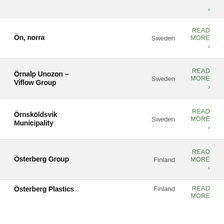› (partial row top)
Ön, norra | Sweden | READ MORE ›
Örnalp Unozon – Viflow Group | Sweden | READ MORE ›
Örnsköldsvik Municipality | Sweden | READ MORE ›
Österberg Group | Finland | READ MORE ›
Österberg Plastics | Finland | READ MORE ›